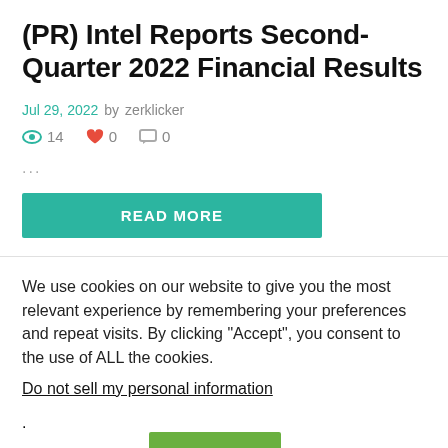(PR) Intel Reports Second-Quarter 2022 Financial Results
Jul 29, 2022 by zerklicker
👁 14   ♥ 0   💬 0
...
READ MORE
We use cookies on our website to give you the most relevant experience by remembering your preferences and repeat visits. By clicking "Accept", you consent to the use of ALL the cookies.
Do not sell my personal information.
Cookie settings   ACCEPT